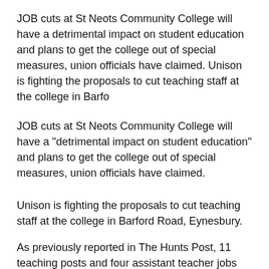JOB cuts at St Neots Community College will have a detrimental impact on student education and plans to get the college out of special measures, union officials have claimed. Unison is fighting the proposals to cut teaching staff at the college in Barfo
JOB cuts at St Neots Community College will have a "detrimental impact on student education" and plans to get the college out of special measures, union officials have claimed.
Unison is fighting the proposals to cut teaching staff at the college in Barford Road, Eynesbury.
As previously reported in The Hunts Post, 11 teaching posts and four assistant teacher jobs are to be shed at the college, which has nearly 70 employees.
However, a reduction in pupil numbers has left the